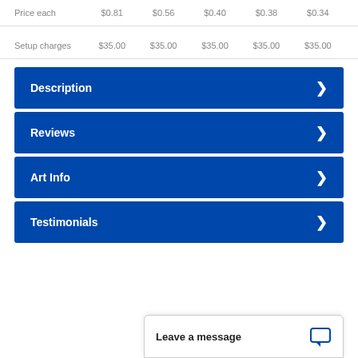|  | col1 | col2 | col3 | col4 | col5 |
| --- | --- | --- | --- | --- | --- |
| Price each | $0.81 | $0.56 | $0.40 | $0.38 | $0.34 |
| Setup charges | $35.00 | $35.00 | $35.00 | $35.00 | $35.00 |
Description
Reviews
Art Info
Testimonials
Leave a message